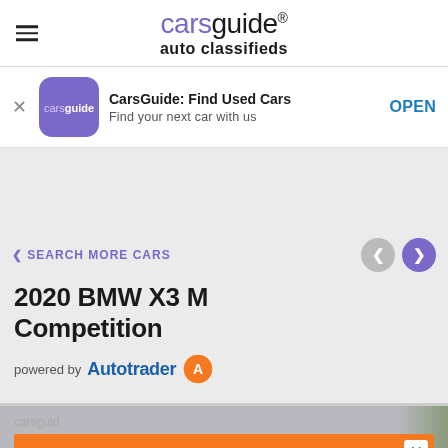carsguide auto classifieds
[Figure (screenshot): CarsGuide app banner with icon, title 'CarsGuide: Find Used Cars', subtitle 'Find your next car with us', and OPEN button]
SEARCH MORE CARS
2020 BMW X3 M Competition
powered by Autotrader
[Figure (infographic): Orange ad banner reading 'SELLING WITH AUTOTRADER ISN'T EXPENSIVE']